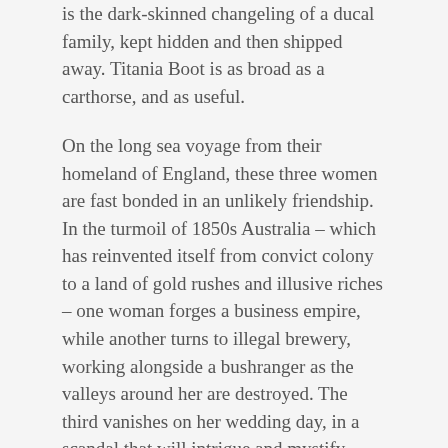is the dark-skinned changeling of a ducal family, kept hidden and then shipped away. Titania Boot is as broad as a carthorse, and as useful.
On the long sea voyage from their homeland of England, these three women are fast bonded in an unlikely friendship. In the turmoil of 1850s Australia – which has reinvented itself from convict colony to a land of gold rushes and illusive riches – one woman forges a business empire, while another turns to illegal brewery, working alongside a bushranger as the valleys around her are destroyed. The third vanishes on her wedding day, in a scandal that will intrigue and mystify Sydney's polite society and beyond.
In this magnificent and broad-sweeping saga, award-winning author Jackie French defies the myth of colonial women as merely wives, servants, petty